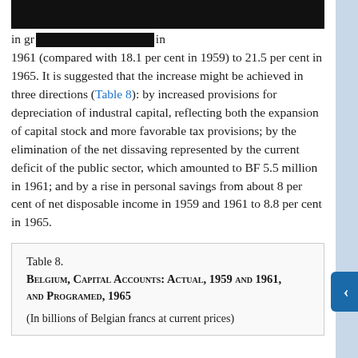in gr... in 1961 (compared with 18.1 per cent in 1959) to 21.5 per cent in 1965. It is suggested that the increase might be achieved in three directions (Table 8): by increased provisions for depreciation of industral capital, reflecting both the expansion of capital stock and more favorable tax provisions; by the elimination of the net dissaving represented by the current deficit of the public sector, which amounted to BF 5.5 million in 1961; and by a rise in personal savings from about 8 per cent of net disposable income in 1959 and 1961 to 8.8 per cent in 1965.
Table 8.
Belgium, Capital Accounts: Actual, 1959 and 1961, and Programed, 1965
(In billions of Belgian francs at current prices)